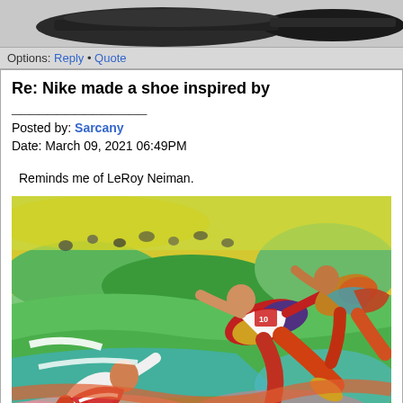[Figure (photo): Partial view of a dark shoe at top of page against grey background]
Options: Reply • Quote
Re: Nike made a shoe inspired by _______________
Posted by: Sarcany
Date: March 09, 2021 06:49PM
Reminds me of LeRoy Neiman.
[Figure (illustration): Colorful LeRoy Neiman style painting of athletes running, in vivid expressionist brushstroke style with vibrant reds, yellows, greens, blues, and purples. Multiple sprinters in motion against a colorful crowd background.]